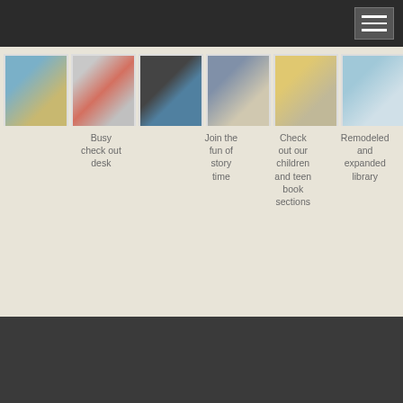[Figure (photo): Six library photo thumbnails in a horizontal strip: busy check out desk, kids at library, library sign, story time group, children/teen book section, remodeled library area]
Busy check out desk
Join the fun of story time
Check out our children and teen book sections
Remodeled and expanded library
^ Top  |  Home
© 2022 Welcome Friends!. Theme by XtremelySocial.